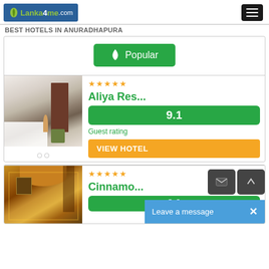Lanka4me.com
BEST HOTELS IN ANURADHAPURA
Popular
[Figure (photo): Hotel room photo for Aliya Resort with bed, furniture and door visible]
Aliya Res... ★★★★★ Rating: 9.1 Guest rating VIEW HOTEL
[Figure (photo): Hotel interior photo for Cinnamon with warm lighting and ornate decor]
Cinnamo... ★★★★★ Rating: 9.0